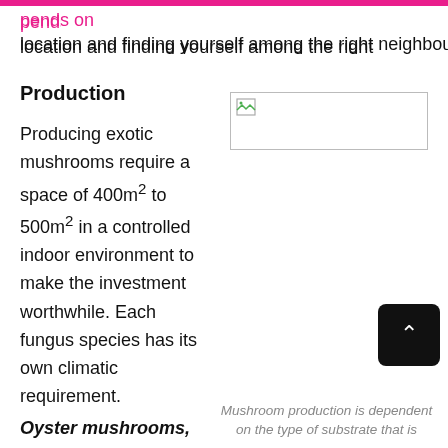pends on location and finding yourself among the right neighbours.
Production
[Figure (photo): Broken/missing image placeholder in a bordered box]
Producing exotic mushrooms require a space of 400m² to 500m² in a controlled indoor environment to make the investment worthwhile. Each fungus species has its own climatic requirement.
Oyster mushrooms,
Mushroom production is dependent on the type of substrate that is